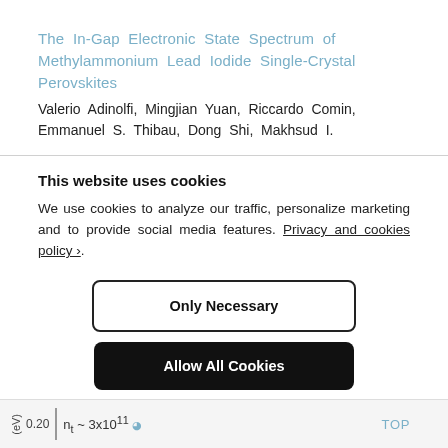The In-Gap Electronic State Spectrum of Methylammonium Lead Iodide Single-Crystal Perovskites
Valerio Adinolfi, Mingjian Yuan, Riccardo Comin, Emmanuel S. Thibau, Dong Shi, Makhsud I.
This website uses cookies
We use cookies to analyze our traffic, personalize marketing and to provide social media features. Privacy and cookies policy ›.
Only Necessary
Allow All Cookies
Configure Settings ›
(eV)  0.20  |  nₜ ~ 3×10¹¹  TOP